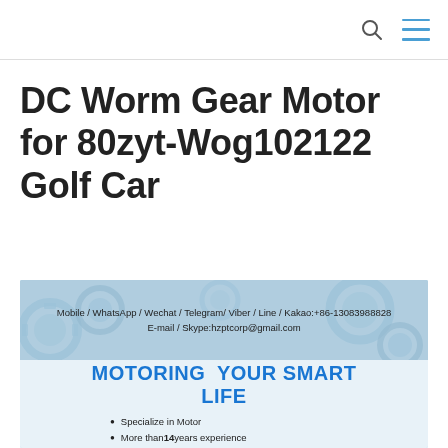DC Worm Gear Motor for 80zyt-Wog102122 Golf Car
[Figure (photo): Product promotional banner showing mechanical gears background with contact information overlay: Mobile / WhatsApp / Wechat / Telegram/ Viber / Line / Kakao:+86-13083988828, E-mail / Skype:hzptcorp@gmail.com. Lower section shows blue text 'MOTORING YOUR SMART LIFE' with bullet points: Specialize in Motor, More than 14 years experience]